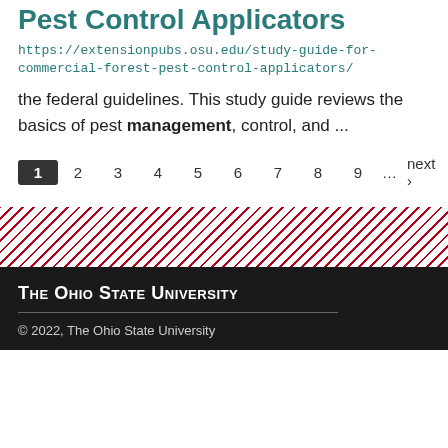Pest Control Applicators
https://extensionpubs.osu.edu/study-guide-for-commercial-forest-pest-control-applicators/
the federal guidelines. This study guide reviews the basics of pest management, control, and ...
1 2 3 4 5 6 7 8 9 … next › last »
[Figure (other): Diagonal red and white stripe decorative band]
The Ohio State University © 2022, The Ohio State University